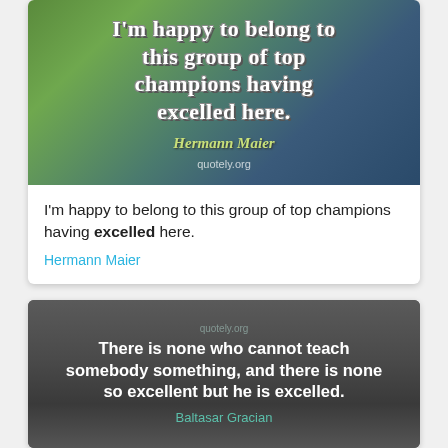[Figure (illustration): Quote image card with outdoor/car background showing text: I'm happy to belong to this group of top champions having excelled here. - Hermann Maier, quotely.org]
I'm happy to belong to this group of top champions having excelled here.
Hermann Maier
[Figure (illustration): Quote image card with dark grey background with winter plant silhouettes: There is none who cannot teach somebody something, and there is none so excellent but he is excelled. - Baltasar Gracian, quotely.org]